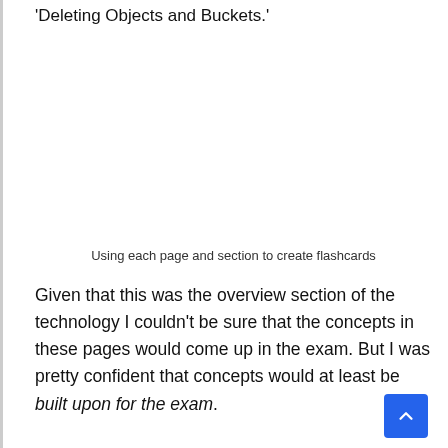'Deleting Objects and Buckets.'
Using each page and section to create flashcards
Given that this was the overview section of the technology I couldn't be sure that the concepts in these pages would come up in the exam. But I was pretty confident that concepts would at least be built upon for the exam.